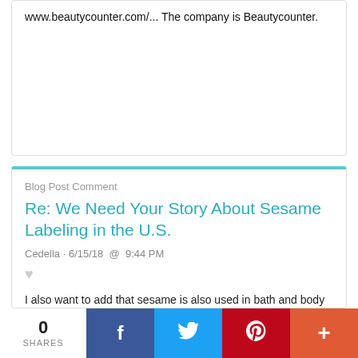www.beautycounter.com/... The company is Beautycounter.
Blog Post Comment
Re: We Need Your Story About Sesame Labeling in the U.S.
Cedella · 6/15/18 @ 9:44 PM
I also want to add that sesame is also used in bath and body care products. It and mustard are incredibly hard allergens to
0 SHARES  [Facebook] [Twitter] [Pinterest] [More]